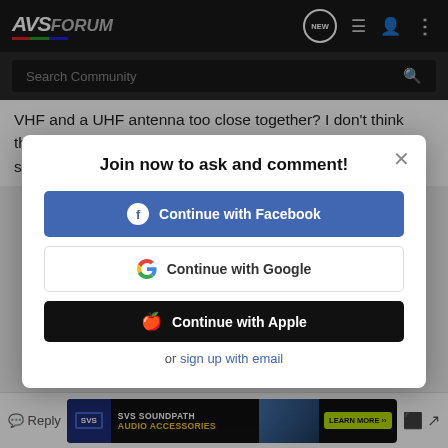AVSForum
Search Community
VHF and a UHF antenna too close together? I don't think that's what I'm trying to do (unless the CM3671 is really two separate a
Join now to ask and comment!
Continue with Facebook
Continue with Google
Continue with Apple
or sign up with email
[Figure (screenshot): SVS SoundPath Audio Accessories advertisement banner at bottom of page]